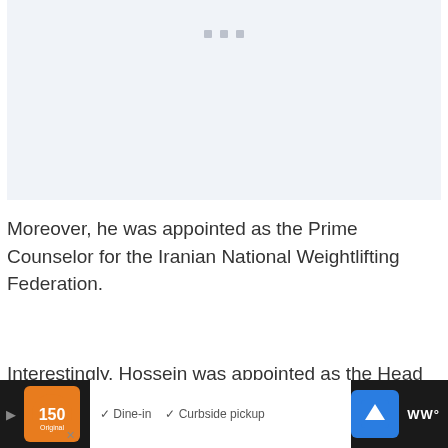[Figure (other): Light blue-gray placeholder image area with three small square dots near the top center]
Moreover, he was appointed as the Prime Counselor for the Iranian National Weightlifting Federation.
Interestingly, Hossein was appointed as the Head Coach of the Iranian team in 2008
[Figure (other): Mobile advertisement bar at the bottom showing a restaurant logo with orange background, dine-in and curbside pickup options, a blue navigation arrow icon, and WW logo on dark background]